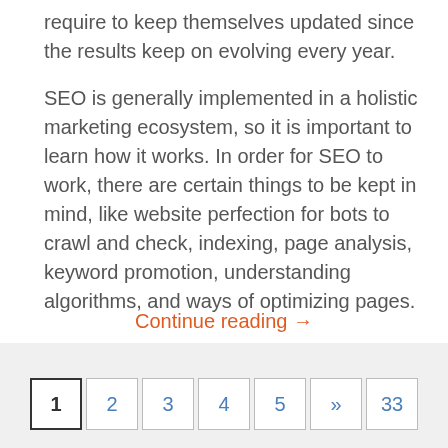require to keep themselves updated since the results keep on evolving every year.

SEO is generally implemented in a holistic marketing ecosystem, so it is important to learn how it works. In order for SEO to work, there are certain things to be kept in mind, like website perfection for bots to crawl and check, indexing, page analysis, keyword promotion, understanding algorithms, and ways of optimizing pages.
Continue reading →
1 2 3 4 5 » 33